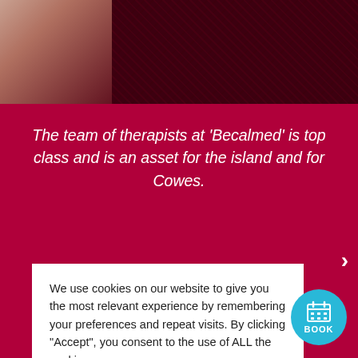[Figure (photo): Background showing a hand against a dark red/crimson carpet or fabric texture at the top of the page]
The team of therapists at 'Becalmed' is top class and is an asset for the island and for Cowes.
We use cookies on our website to give you the most relevant experience by remembering your preferences and repeat visits. By clicking "Accept", you consent to the use of ALL the cookies.
Cookie settings
ACCEPT